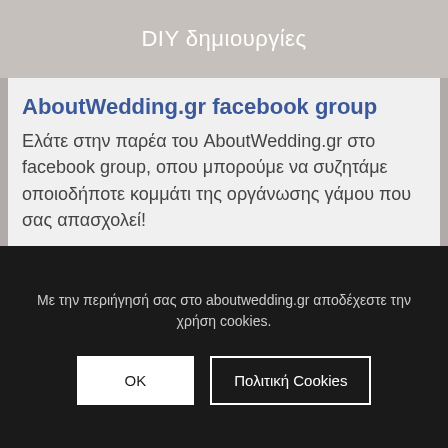DIY δημιουργίες
AboutWedding.gr facebook group
Ελάτε στην παρέα του AboutWedding.gr στο facebook group, οπου μπορούμε να συζητάμε οποιοδήποτε κομμάτι της οργάνωσης γάμου που σας απασχολεί!
Γίνετε μέλος της ομάδας
Με την περιήγησή σας στο aboutwedding.gr αποδέχεστε την χρήση cookies.
OK
Πολιτική Cookies